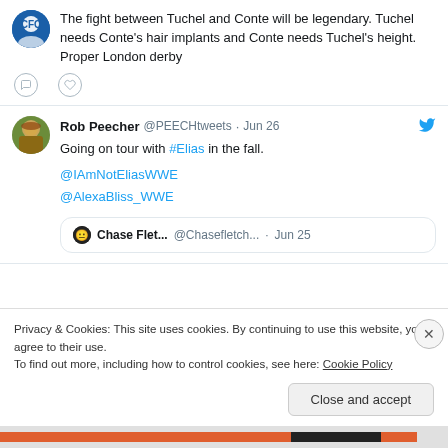The fight between Tuchel and Conte will be legendary. Tuchel needs Conte's hair implants and Conte needs Tuchel's height. Proper London derby
Rob Peecher @PEECHtweets · Jun 26 — Going on tour with #Elias in the fall. @IAmNotEliasWWE @AlexaBliss_WWE
Chase Flet... @Chasefletch... · Jun 25
Privacy & Cookies: This site uses cookies. By continuing to use this website, you agree to their use. To find out more, including how to control cookies, see here: Cookie Policy
Close and accept